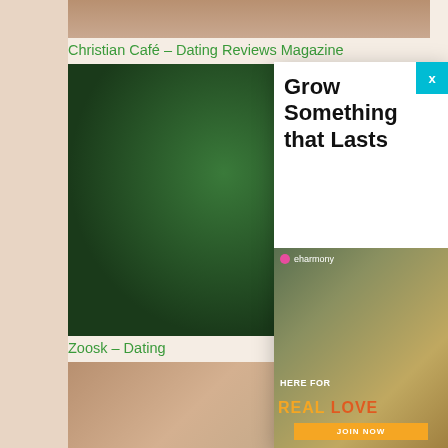[Figure (photo): Partial photo at top, appears to show a person, cropped]
Christian Café – Dating Reviews Magazine
[Figure (photo): Photo of lush green tropical plants/leaves]
[Figure (screenshot): Modal popup overlay with text 'Grow Something that Lasts' and eHarmony ad showing couple with text 'HERE FOR REAL LOVE JOIN NOW']
Zoosk – Dating
[Figure (photo): Partial photo at bottom left, appears to show outdoor/building scene]